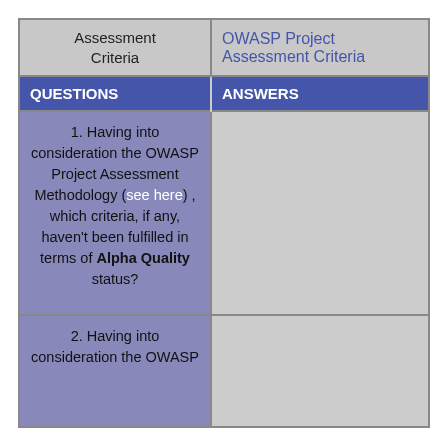| Assessment Criteria | OWASP Project Assessment Criteria |
| --- | --- |
| QUESTIONS | ANSWERS |
| 1. Having into consideration the OWASP Project Assessment Methodology (see here) , which criteria, if any, haven't been fulfilled in terms of Alpha Quality status? |  |
| 2. Having into consideration the OWASP |  |